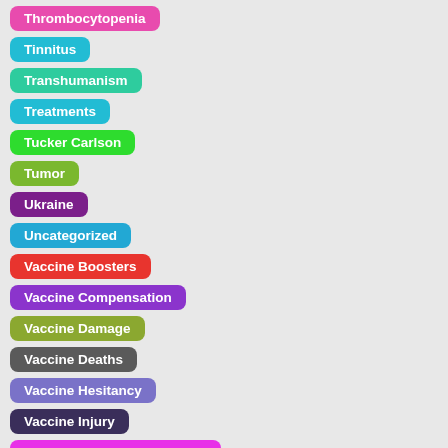Thrombocytopenia
Tinnitus
Transhumanism
Treatments
Tucker Carlson
Tumor
Ukraine
Uncategorized
Vaccine Boosters
Vaccine Compensation
Vaccine Damage
Vaccine Deaths
Vaccine Hesitancy
Vaccine Injury
Vaccine Monitoring Systems
Vaccine Passports
Vaccine Performance